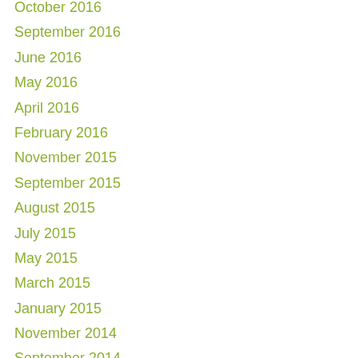October 2016
September 2016
June 2016
May 2016
April 2016
February 2016
November 2015
September 2015
August 2015
July 2015
May 2015
March 2015
January 2015
November 2014
September 2014
July 2014